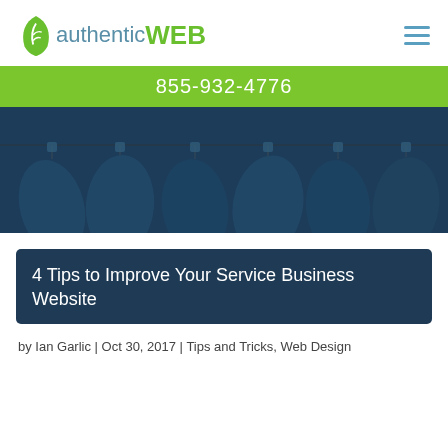[Figure (logo): Authentic Web logo with green leaf icon and text 'authenticWEB']
[Figure (infographic): Hamburger menu icon (three horizontal blue lines)]
855-932-4776
[Figure (photo): Hero banner image showing leaf-shaped objects hanging on a clothesline with a dark blue overlay]
4 Tips to Improve Your Service Business Website
by Ian Garlic | Oct 30, 2017 | Tips and Tricks, Web Design